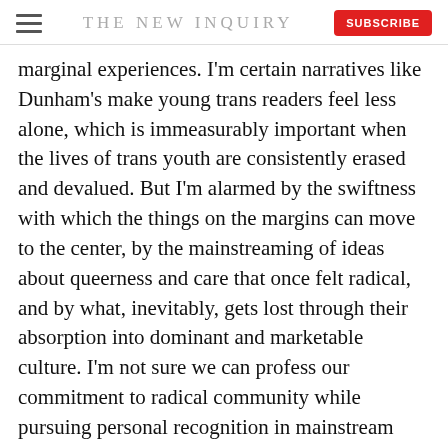THE NEW INQUIRY
marginal experiences. I'm certain narratives like Dunham's make young trans readers feel less alone, which is immeasurably important when the lives of trans youth are consistently erased and devalued. But I'm alarmed by the swiftness with which the things on the margins can move to the center, by the mainstreaming of ideas about queerness and care that once felt radical, and by what, inevitably, gets lost through their absorption into dominant and marketable culture. I'm not sure we can profess our commitment to radical community while pursuing personal recognition in mainstream creative industries as white and wealthy people, or rather we can — and I continue to — but the